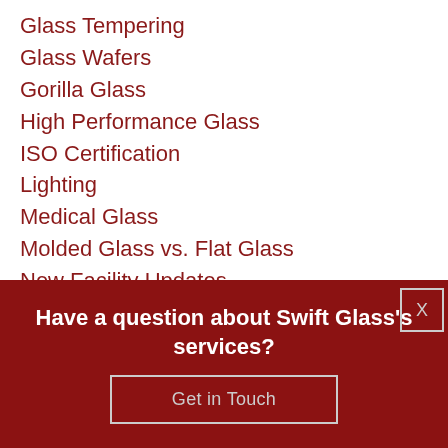Glass Tempering
Glass Wafers
Gorilla Glass
High Performance Glass
ISO Certification
Lighting
Medical Glass
Molded Glass vs. Flat Glass
New Facility Updates
Optical Glass
Photonics
Have a question about Swift Glass's services?
Get in Touch